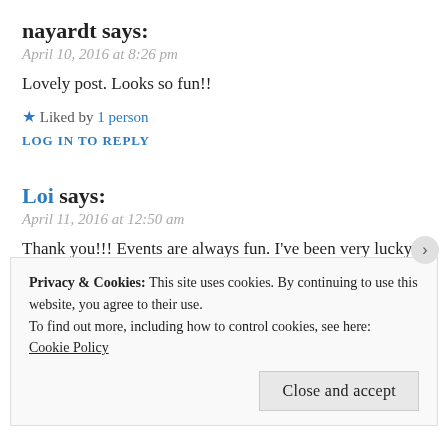nayardt says:
April 10, 2016 at 8:26 pm
Lovely post. Looks so fun!!
★ Liked by 1 person
LOG IN TO REPLY
Loi says:
April 11, 2016 at 12:50 am
Thank you!!! Events are always fun. I've been very lucky to be invited 🙂
★ Liked by 1 person
Privacy & Cookies: This site uses cookies. By continuing to use this website, you agree to their use. To find out more, including how to control cookies, see here: Cookie Policy
Close and accept